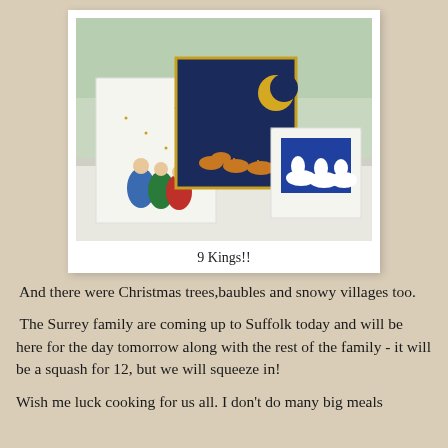[Figure (photo): Three Christmas cards displayed on a white table. The cards show variations of the Three Kings/Wise Men nativity scene — one with three colorful robed figures, one dark card with a crescent moon and camels silhouettes, and one with white cut-out silhouettes of kings on camels against a blue background.]
9 Kings!!
And there were Christmas trees,baubles and snowy villages too.
The Surrey family are coming up to Suffolk today and will be here for the day tomorrow along with the rest of the family - it will be a squash for 12, but we will squeeze in!
Wish me luck cooking for us all. I don't do many big meals